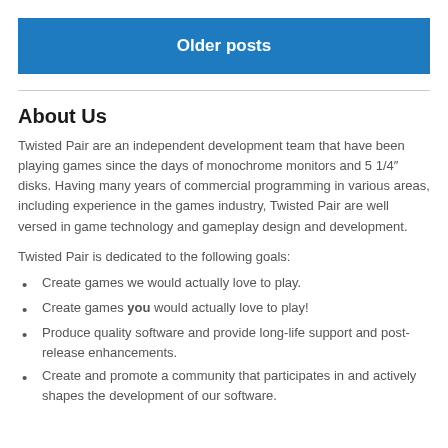Older posts
About Us
Twisted Pair are an independent development team that have been playing games since the days of monochrome monitors and 5 1/4″ disks. Having many years of commercial programming in various areas, including experience in the games industry, Twisted Pair are well versed in game technology and gameplay design and development.
Twisted Pair is dedicated to the following goals:
Create games we would actually love to play.
Create games you would actually love to play!
Produce quality software and provide long-life support and post-release enhancements.
Create and promote a community that participates in and actively shapes the development of our software.